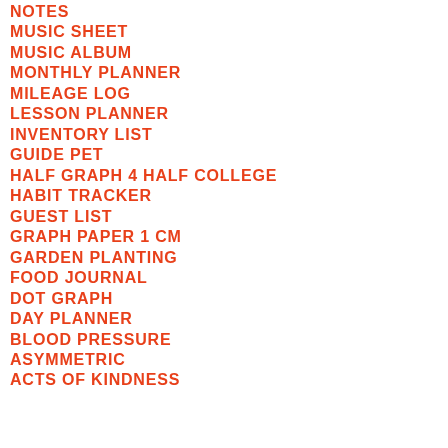NOTES
MUSIC SHEET
MUSIC ALBUM
MONTHLY PLANNER
MILEAGE LOG
LESSON PLANNER
INVENTORY LIST
GUIDE PET
HALF GRAPH 4 HALF COLLEGE
HABIT TRACKER
GUEST LIST
GRAPH PAPER 1 CM
GARDEN PLANTING
FOOD JOURNAL
DOT GRAPH
DAY PLANNER
BLOOD PRESSURE
ASYMMETRIC
ACTS OF KINDNESS